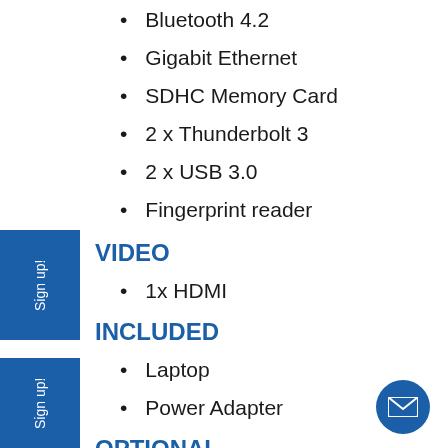Bluetooth 4.2
Gigabit Ethernet
SDHC Memory Card
2 x Thunderbolt 3
2 x USB 3.0
Fingerprint reader
VIDEO
1x HDMI
INCLUDED
Laptop
Power Adapter
OPTIONAL